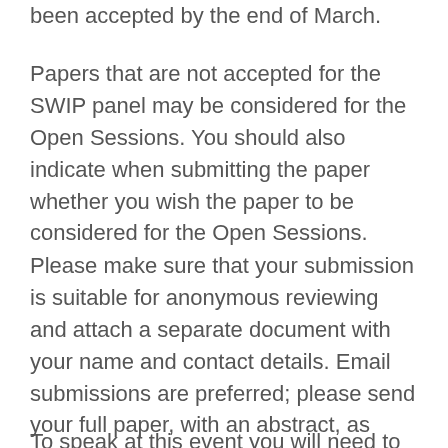been accepted by the end of March.
Papers that are not accepted for the SWIP panel may be considered for the Open Sessions. You should also indicate when submitting the paper whether you wish the paper to be considered for the Open Sessions.
Please make sure that your submission is suitable for anonymous reviewing and attach a separate document with your name and contact details. Email submissions are preferred; please send your full paper, with an abstract, as either .doc or .pdf attachment to Roxanna Lynch (roxannajesselynch@gmail.com) or send a hard copy to: R. J. Lynch, 81 Andover Road, Newbury, Berkshire, RG14 6JH
To speak at this event you will need to register as a